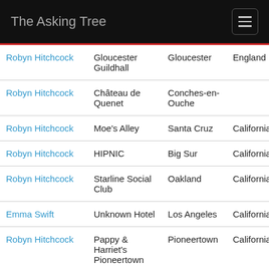The Asking Tree
| Artist | Venue | City | State/Country |
| --- | --- | --- | --- |
| Robyn Hitchcock | Gloucester Guildhall | Gloucester | England |
| Robyn Hitchcock | Château de Quenet | Conches-en-Ouche |  |
| Robyn Hitchcock | Moe's Alley | Santa Cruz | California |
| Robyn Hitchcock | HIPNIC | Big Sur | California |
| Robyn Hitchcock | Starline Social Club | Oakland | California |
| Emma Swift | Unknown Hotel | Los Angeles | California |
| Robyn Hitchcock | Pappy & Harriet's Pioneertown | Pioneertown | California |